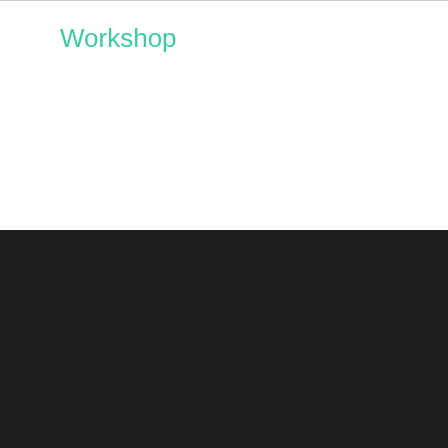Workshop
BLOG STATS
912,776 hits
[Figure (logo): Follow Huronia Museum button with WordPress logo icon]
BLOG AT WORDPRESS.COM.